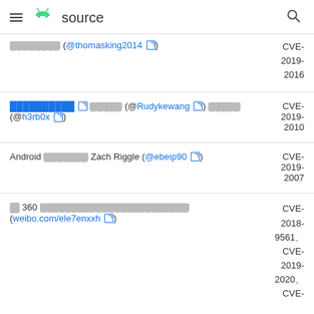≡ 🤖 source [search icon]
| Reporter | CVE |
| --- | --- |
| ████████ (@thomasking2014 ↗) | CVE-2019-2016 |
| ██████████ ↗ █████ (@Rudykewang ↗) █████ (@h3rb0x ↗) | CVE-2019-2010 |
| Android ██████ Zach Riggle (@ebeip90 ↗) | CVE-2019-2007 |
| 奇 360 ████████████████████████ (weibo.com/ele7enxxh ↗) | CVE-2018-9561、CVE-2019-2020、CVE- |